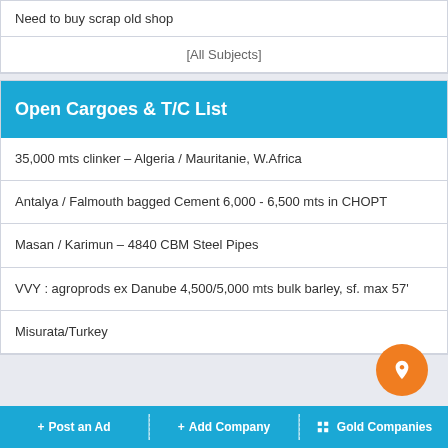Need to buy scrap old shop
[All Subjects]
Open Cargoes & T/C List
35,000 mts clinker – Algeria / Mauritanie, W.Africa
Antalya / Falmouth bagged Cement 6,000 - 6,500 mts in CHOPT
Masan / Karimun – 4840 CBM Steel Pipes
VVY : agroprods ex Danube 4,500/5,000 mts bulk barley, sf. max 57'
Misurata/Turkey
+ Post an Ad  + Add Company  Gold Companies